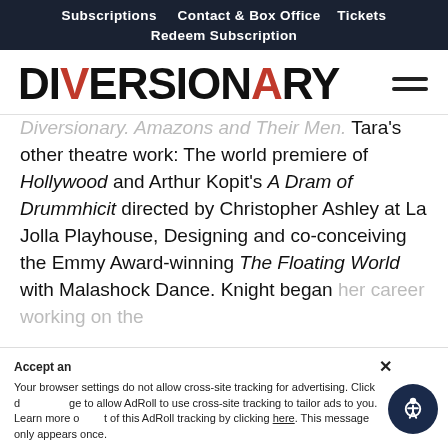Subscriptions   Contact & Box Office   Tickets
Redeem Subscription
DIVERSIONARY
Diversionary. Amazons and Their Men. Tara's other theatre work: The world premiere of Hollywood and Arthur Kopit's A Dram of Drummhicit directed by Christopher Ashley at La Jolla Playhouse, Designing and co-conceiving the Emmy Award-winning The Floating World with Malashock Dance. Knight began her career working on the
Accept and   ×
Your browser settings do not allow cross-site tracking for advertising. Click d ge to allow AdRoll to use cross-site tracking to tailor ads to you. Learn more o t of this AdRoll tracking by clicking here. This message only appears once.